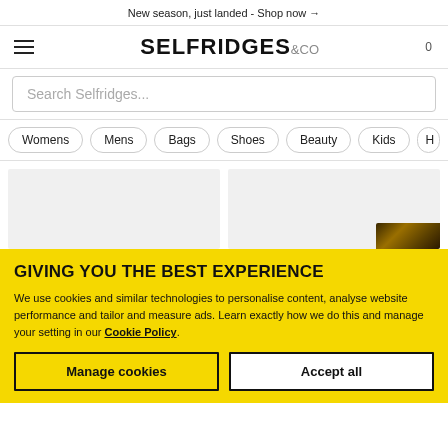New season, just landed - Shop now →
[Figure (logo): Selfridges & Co logo with hamburger menu and cart count 0]
Search Selfridges...
Womens  Mens  Bags  Shoes  Beauty  Kids  H
[Figure (photo): Two product image placeholders, right one showing a partial product]
GIVING YOU THE BEST EXPERIENCE
We use cookies and similar technologies to personalise content, analyse website performance and tailor and measure ads. Learn exactly how we do this and manage your setting in our Cookie Policy.
Manage cookies  Accept all